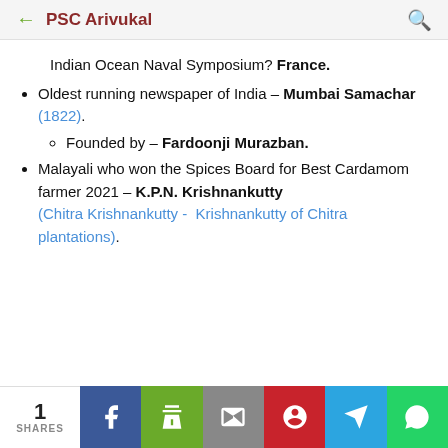PSC Arivukal
Indian Ocean Naval Symposium? France.
Oldest running newspaper of India – Mumbai Samachar (1822).
Founded by – Fardoonji Murazban.
Malayali who won the Spices Board for Best Cardamom farmer 2021 – K.P.N. Krishnankutty (Chitra Krishnankutty - Krishnankutty of Chitra plantations).
1 SHARES | Facebook | Print | Email | Pinterest | Telegram | WhatsApp